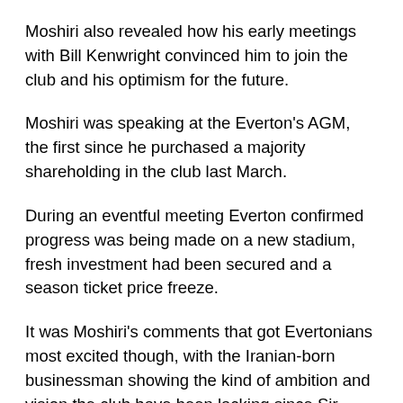Moshiri also revealed how his early meetings with Bill Kenwright convinced him to join the club and his optimism for the future.
Moshiri was speaking at the Everton's AGM, the first since he purchased a majority shareholding in the club last March.
During an eventful meeting Everton confirmed progress was being made on a new stadium, fresh investment had been secured and a season ticket price freeze.
It was Moshiri's comments that got Evertonians most excited though, with the Iranian-born businessman showing the kind of ambition and vision the club have been lacking since Sir John Moores in the 1960s and 1970s.